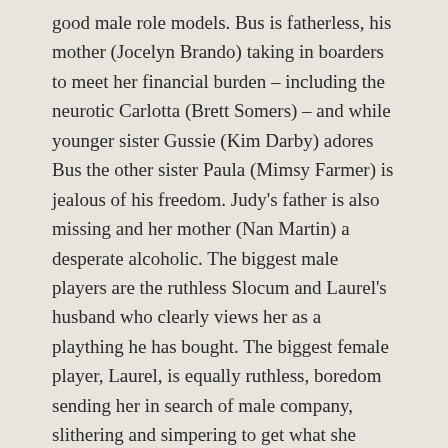good male role models. Bus is fatherless, his mother (Jocelyn Brando) taking in boarders to meet her financial burden – including the neurotic Carlotta (Brett Somers) – and while younger sister Gussie (Kim Darby) adores Bus the other sister Paula (Mimsy Farmer) is jealous of his freedom. Judy's father is also missing and her mother (Nan Martin) a desperate alcoholic. The biggest male players are the ruthless Slocum and Laurel's husband who clearly views her as a plaything he has bought. The biggest female player, Laurel, is equally ruthless, boredom sending her in search of male company, slithering and simpering to get what she wants.
Scandal is often a flickering curtain away in small towns so it's no surprise that Bus can enjoy a reckless affair